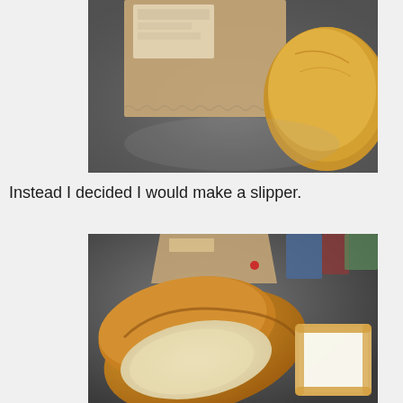[Figure (photo): Close-up photo of a bread roll on a dark surface with a paper bag visible]
Instead I decided I would make a slipper.
[Figure (photo): Photo of bread shaped like a slipper, hollowed out, with a slice of bread beside it on a dark surface, paper bag in background]